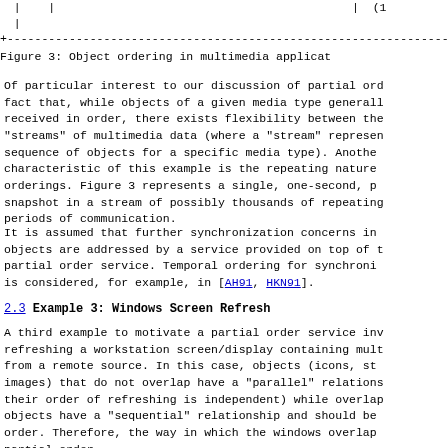[Figure (other): Top border lines and partial table row from figure above]
Figure 3: Object ordering in multimedia applicat...
Of particular interest to our discussion of partial ord... periods of communication.
It is assumed that further synchronization concerns in... is considered, for example, in [AH91, HKN91].
2.3 Example 3: Windows Screen Refresh
A third example to motivate a partial order service inv... partial order.